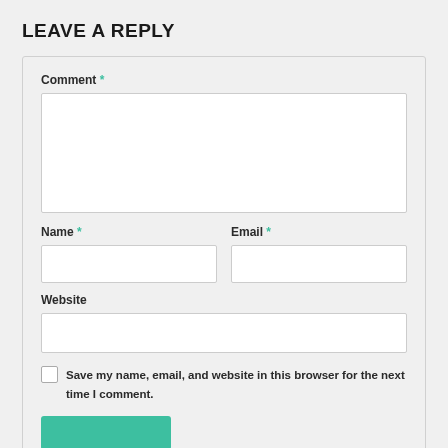LEAVE A REPLY
Comment *
Name *
Email *
Website
Save my name, email, and website in this browser for the next time I comment.